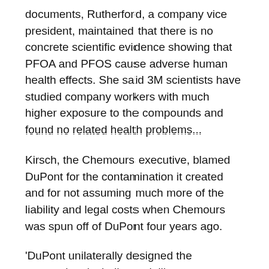documents, Rutherford, a company vice president, maintained that there is no concrete scientific evidence showing that PFOA and PFOS cause adverse human health effects. She said 3M scientists have studied company workers with much higher exposure to the compounds and found no related health problems...
Kirsch, the Chemours executive, blamed DuPont for the contamination it created and for not assuming much more of the liability and legal costs when Chemours was spun off of DuPont four years ago.
'DuPont unilaterally designed the transaction, including a deliberate, disproportionate assignment of two-thirds of DuPont's environmental liability and 90 percent of DuPont's active litigation to Chemours — liability and